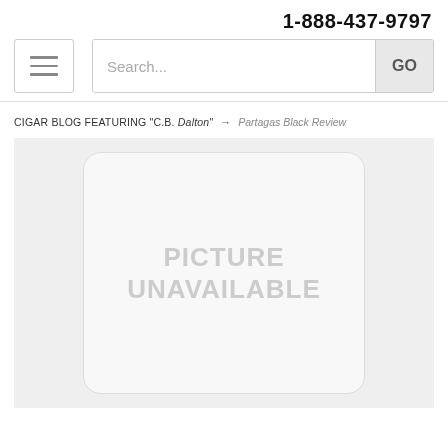1-888-437-9797
[Figure (screenshot): Navigation bar with hamburger menu icon and search bar with GO button]
CIGAR BLOG FEATURING "C.B. Dalton" → Partagas Black Review
[Figure (illustration): Placeholder image box with text PICTURE UNAVAILABLE on gray background]